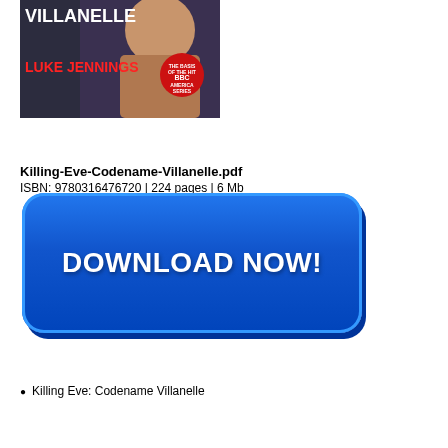[Figure (photo): Book cover of 'Killing Eve: Codename Villanelle' by Luke Jennings, showing a woman with text 'VILLANELLE' at top in white, author name 'LUKE JENNINGS' in red, with a BBC America series badge.]
Killing-Eve-Codename-Villanelle.pdf
ISBN: 9780316476720 | 224 pages | 6 Mb
[Figure (other): Large blue rounded rectangle button with text 'DOWNLOAD NOW!' in white bold letters.]
Killing Eve: Codename Villanelle